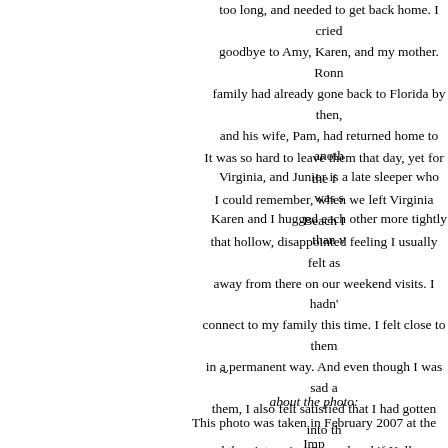too long, and needed to get back home. I cried goodbye to Amy, Karen, and my mother. Ronnie's family had already gone back to Florida by then, and his wife, Pam, had returned home to another Virginia, and Junior is a late sleeper who was s... Karen and I hugged each other more tightly than w...
It was so hard to leave them that day, yet for the f... I could remember, when we left Virginia Beach I... that hollow, disappointed feeling I usually felt as... away from there on our weekend visits. I hadn't... connect to my family this time. I felt close to them in a permanent way. And even though I was sad a... them, I also felt satisfied that I had gotten into th... and they into mine. I wondered if Kelly was sit... peaceful place somewhere, watching all of this. I... was, because if she could have seen us all that w... she could have read my thoughts as I was leaving... have known that we had begun to grant her last... wish about all of us getting closer to each other ar... act more like a family.
~
about the photo: This photo was taken in February 2007 at the Imp... in Seoul. I shot it on the grounds of the palace be... the imperial cemeteraries. There are many secti... palace, each with its own unique architecture, d... design. This courtyard featured a gateway into an...